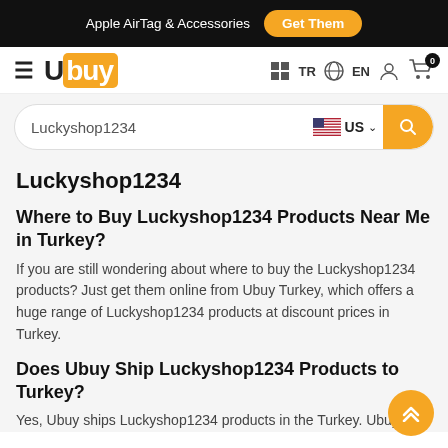Apple AirTag & Accessories  Get Them
Ubuy  TR  EN
Luckyshop1234
Luckyshop1234
Where to Buy Luckyshop1234 Products Near Me in Turkey?
If you are still wondering about where to buy the Luckyshop1234 products? Just get them online from Ubuy Turkey, which offers a huge range of Luckyshop1234 products at discount prices in Turkey.
Does Ubuy Ship Luckyshop1234 Products to Turkey?
Yes, Ubuy ships Luckyshop1234 products in the Turkey. Ubuy